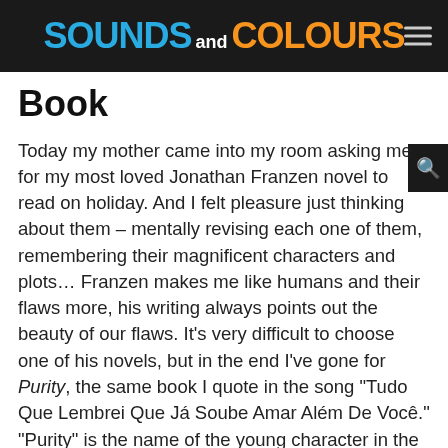SOUNDS and COLOURS
Book
Today my mother came into my room asking me for my most loved Jonathan Franzen novel to read on holiday. And I felt pleasure just thinking about them – mentally revising each one of them, remembering their magnificent characters and plots… Franzen makes me like humans and their flaws more, his writing always points out the beauty of our flaws. It's very difficult to choose one of his novels, but in the end I've gone for Purity, the same book I quote in the song "Tudo Que Lembrei Que Já Soube Amar Além De Você." "Purity" is the name of the young character in the book, and around her a thousand threads of stories unfold. And I, who am not even American, feel that I am all the characters, I fall